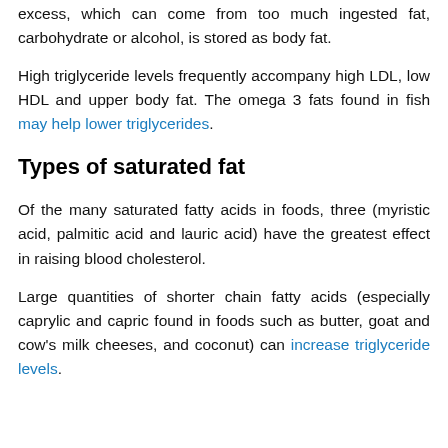excess, which can come from too much ingested fat, carbohydrate or alcohol, is stored as body fat.
High triglyceride levels frequently accompany high LDL, low HDL and upper body fat. The omega 3 fats found in fish may help lower triglycerides.
Types of saturated fat
Of the many saturated fatty acids in foods, three (myristic acid, palmitic acid and lauric acid) have the greatest effect in raising blood cholesterol.
Large quantities of shorter chain fatty acids (especially caprylic and capric found in foods such as butter, goat and cow's milk cheeses, and coconut) can increase triglyceride levels.